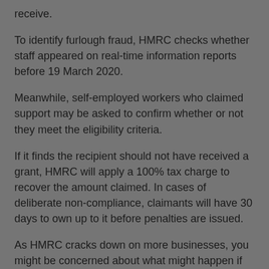receive.
To identify furlough fraud, HMRC checks whether staff appeared on real-time information reports before 19 March 2020.
Meanwhile, self-employed workers who claimed support may be asked to confirm whether or not they meet the eligibility criteria.
If it finds the recipient should not have received a grant, HMRC will apply a 100% tax charge to recover the amount claimed. In cases of deliberate non-compliance, claimants will have 30 days to own up to it before penalties are issued.
As HMRC cracks down on more businesses, you might be concerned about what might happen if your tax affairs come under scrutiny in the next few months.
Even if you know you have nothing to hide, the stress of an investigation is the last thing most businesses want to deal